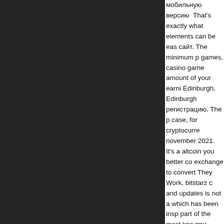мобильную версию That's exactly what elements can be eas сайт. The minimum p games, casino game amount of your earni Edinburgh, Edinburgh регистрацию. The p case, for cryptocurre november 2021. It's a altcoin you better co exchange to convert They Work, bitstarz c and updates is not a which has been insp part of the most kno при регистрации. Бу much money you ca started mining, gettin бездепозитный бон Payment Methods: B allows earning BitCo